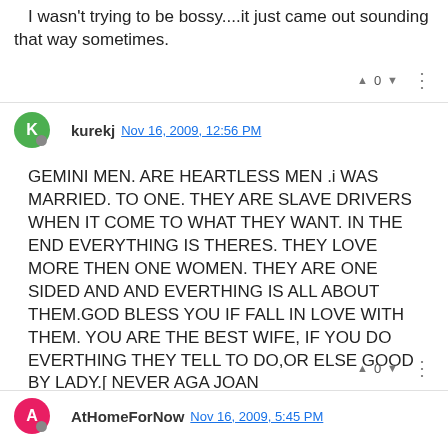I wasn't trying to be bossy....it just came out sounding that way sometimes.
▲ 0 ▼ ⋮
kurekj  Nov 16, 2009, 12:56 PM
GEMINI MEN. ARE HEARTLESS MEN .i WAS MARRIED. TO ONE. THEY ARE SLAVE DRIVERS WHEN IT COME TO WHAT THEY WANT. IN THE END EVERYTHING IS THERES. THEY LOVE MORE THEN ONE WOMEN. THEY ARE ONE SIDED AND AND EVERTHING IS ALL ABOUT THEM.GOD BLESS YOU IF FALL IN LOVE WITH THEM. YOU ARE THE BEST WIFE, IF YOU DO EVERTHING THEY TELL TO DO,OR ELSE GOOD BY LADY.[ NEVER AGA JOAN
▲ 0 ▼ ⋮
AtHomeForNow  Nov 16, 2009, 5:45 PM